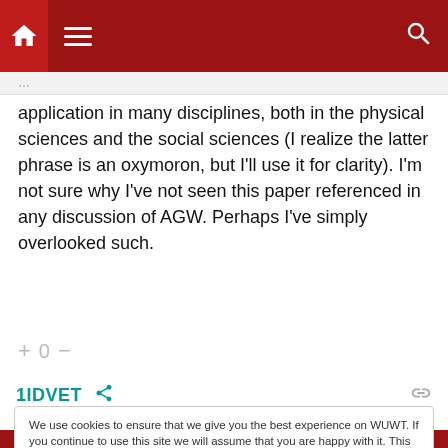WUWT navigation bar with home, menu, and search icons
application in many disciplines, both in the physical sciences and the social sciences (I realize the latter phrase is an oxymoron, but I’ll use it for clarity). I’m not sure why I’ve not seen this paper referenced in any discussion of AGW. Perhaps I’ve simply overlooked such.
+ 0 −
1IDVET
We use cookies to ensure that we give you the best experience on WUWT. If you continue to use this site we will assume that you are happy with it. This notice is required by recently enacted EU GDPR rules, and since WUWT is a globally read website, we need to keep the bureaucrats off our case! Cookie Policy
Close and accept